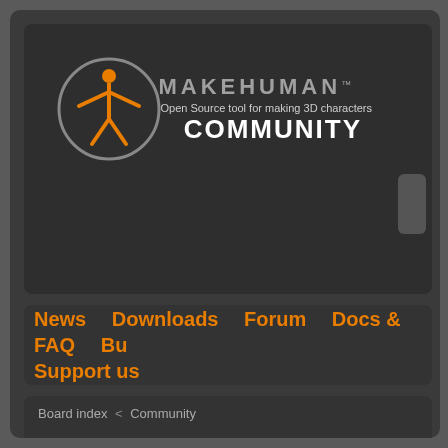[Figure (logo): MakeHuman logo with orange figure in grey circle, text MAKEHUMAN with TM mark, tagline 'Open Source tool for making 3D characters', and COMMUNITY text]
News    Downloads    Forum    Docs & FAQ    Bu...
Support us
Board index < Community